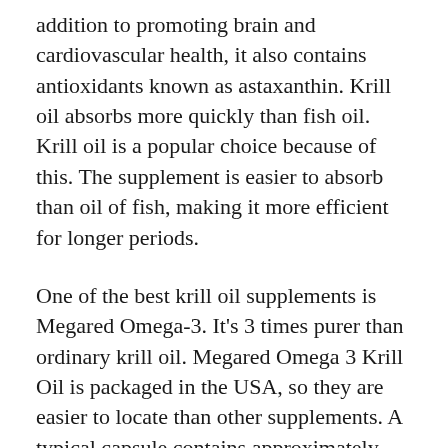addition to promoting brain and cardiovascular health, it also contains antioxidants known as astaxanthin. Krill oil absorbs more quickly than fish oil. Krill oil is a popular choice because of this. The supplement is easier to absorb than oil of fish, making it more efficient for longer periods.
One of the best krill oil supplements is Megared Omega-3. It's 3 times purer than ordinary krill oil. Megared Omega 3 Krill Oil is packaged in the USA, so they are easier to locate than other supplements. A typical capsule contains approximately 166 mg of EPA and DHA. EPA supplements are the most affordable source of omega-3 fatty acids, so it's worth comparing a few different products before making a final decision.